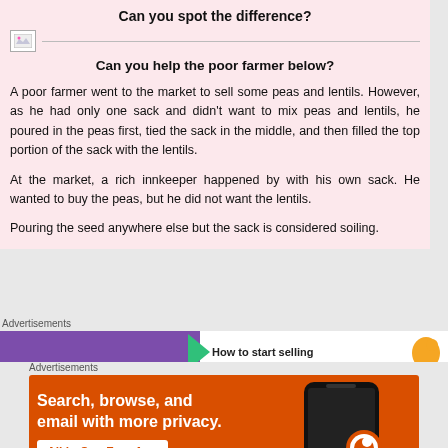Can you spot the difference?
[Figure (other): Broken image placeholder with horizontal line]
Can you help the poor farmer below?
A poor farmer went to the market to sell some peas and lentils. However, as he had only one sack and didn't want to mix peas and lentils, he poured in the peas first, tied the sack in the middle, and then filled the top portion of the sack with the lentils.
At the market, a rich innkeeper happened by with his own sack. He wanted to buy the peas, but he did not want the lentils.
Pouring the seed anywhere else but the sack is considered soiling.
Advertisements
[Figure (screenshot): Advertisement banner with purple background, green arrow, and DuckDuckGo orange duck logo with text 'How to start selling']
Advertisements
[Figure (screenshot): DuckDuckGo advertisement on orange background: 'Search, browse, and email with more privacy. All in One Free App' with phone image and DuckDuckGo logo]